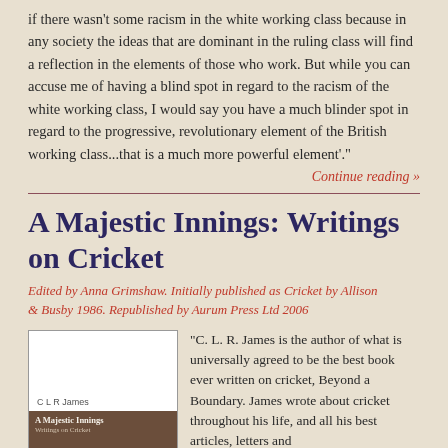if there wasn't some racism in the white working class because in any society the ideas that are dominant in the ruling class will find a reflection in the elements of those who work. But while you can accuse me of having a blind spot in regard to the racism of the white working class, I would say you have a much blinder spot in regard to the progressive, revolutionary element of the British working class...that is a much more powerful element'."
Continue reading »
A Majestic Innings: Writings on Cricket
Edited by Anna Grimshaw. Initially published as Cricket by Allison & Busby 1986. Republished by Aurum Press Ltd 2006
[Figure (illustration): Book cover of 'A Majestic Innings: Writings on Cricket' by C L R James. White background with brown/tan band at bottom showing the title and author name.]
"C. L. R. James is the author of what is universally agreed to be the best book ever written on cricket, Beyond a Boundary. James wrote about cricket throughout his life, and all his best articles, letters and